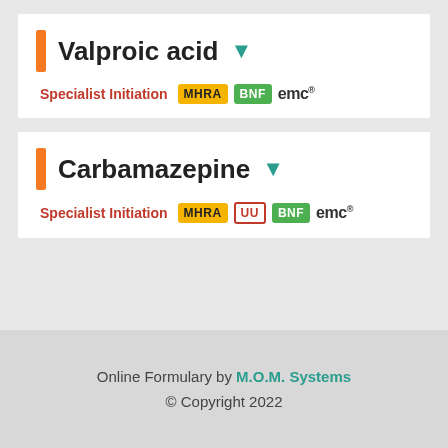Valproic acid
Specialist Initiation MHRA BNF emc®
Carbamazepine
Specialist Initiation MHRA UU BNF emc®
Online Formulary by M.O.M. Systems © Copyright 2022